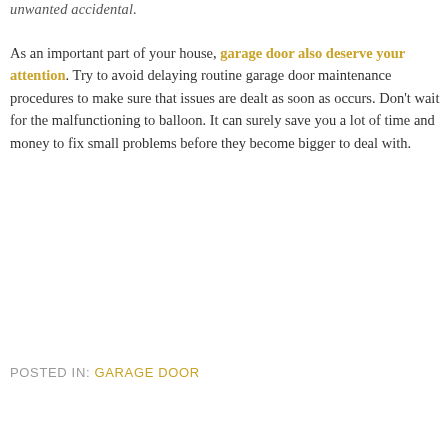unwanted accidental.
As an important part of your house, garage door also deserve your attention. Try to avoid delaying routine garage door maintenance procedures to make sure that issues are dealt as soon as occurs. Don’t wait for the malfunctioning to balloon. It can surely save you a lot of time and money to fix small problems before they become bigger to deal with.
POSTED IN: GARAGE DOOR